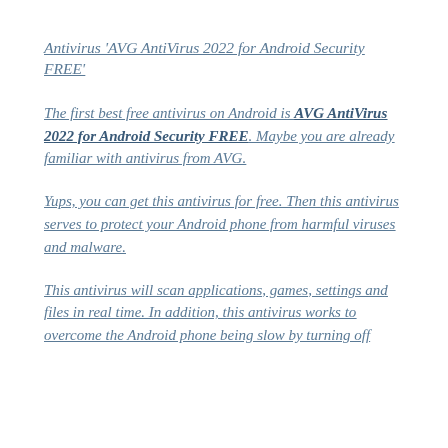Antivirus 'AVG AntiVirus 2022 for Android Security FREE'
The first best free antivirus on Android is AVG AntiVirus 2022 for Android Security FREE. Maybe you are already familiar with antivirus from AVG.
Yups, you can get this antivirus for free. Then this antivirus serves to protect your Android phone from harmful viruses and malware.
This antivirus will scan applications, games, settings and files in real time. In addition, this antivirus works to overcome the Android phone being slow by turning off